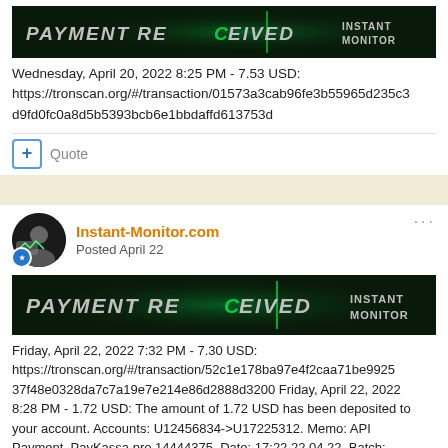[Figure (screenshot): Green and dark 'PAYMENT RECEIVED' banner with 'INSTANT MONITOR' text on right]
Wednesday, April 20, 2022 8:25 PM - 7.53 USD: https://tronscan.org/#/transaction/01573a3cab96fe3b55965d235c3d9fd0fc0a8d5b5393bcb6e1bbdaffd613753d
Quote
Instant-Monitor.com
Posted April 22
[Figure (screenshot): Green and dark 'PAYMENT RECEIVED' banner with 'INSTANT MONITOR' text on right]
Friday, April 22, 2022 7:32 PM - 7.30 USD: https://tronscan.org/#/transaction/52c1e178ba97e4f2caa71be99253 7f48e0328da7c7a19e7e214e86d2888d3200 Friday, April 22, 2022 8:28 PM - 1.72 USD: The amount of 1.72 USD has been deposited to your account. Accounts: U12456834->U17225312. Memo: API Payment. PayKassa.pro 14444375. Date: 17:22 22.04.22. Batch: